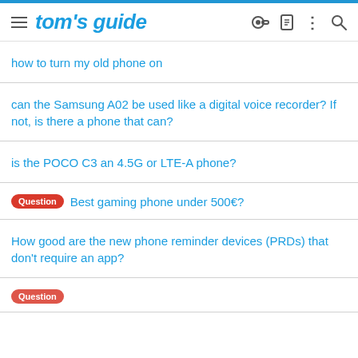tom's guide
how to turn my old phone on
can the Samsung A02 be used like a digital voice recorder? If not, is there a phone that can?
is the POCO C3 an 4.5G or LTE-A phone?
Question Best gaming phone under 500€?
How good are the new phone reminder devices (PRDs) that don't require an app?
[Question] [partial text cut off]